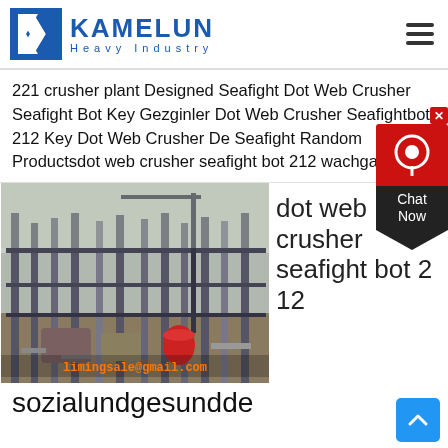[Figure (logo): Kamelun Heavy Industry logo with blue K chevron icon and company name]
221 crusher plant Designed Seafight Dot Web Crusher Seafight Bot Key Gezginler Dot Web Crusher Seafightbot 212 Key Dot Web Crusher De Seafight Random Productsdot web crusher seafight bot 212 wachgastro
[Figure (photo): Construction site with steel framework structure, crane, and equipment under overcast sky. Watermark: limingsale@gmail.com]
dot web crusher seafight bot 2 12
sozialundgesundde